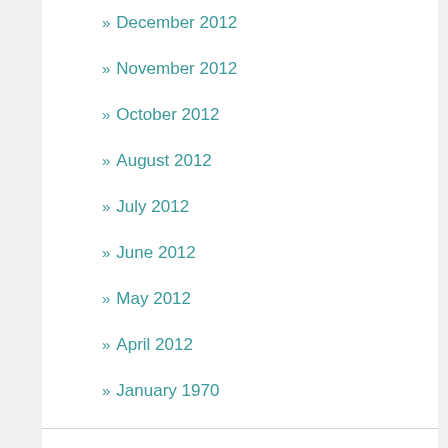» December 2012
» November 2012
» October 2012
» August 2012
» July 2012
» June 2012
» May 2012
» April 2012
» January 1970
CATEGORIES
» 1 Thessalonians free Bible notes
» 1 Timothy Free Bible thoughts
» 2 Chronicles notes